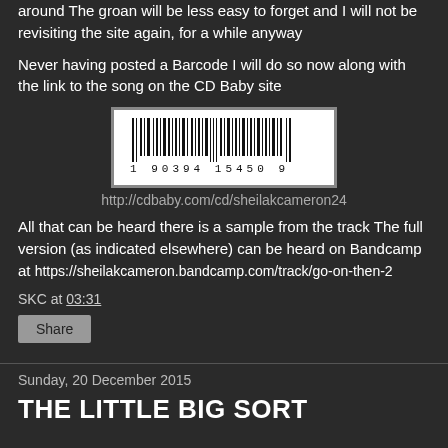around The groan will be less easy to forget and I will not be revisiting the site again, for a while anyway
Never having posted a Barcode I will do so now along with the link to the song on the CD Baby site
[Figure (other): Barcode image: 1 90394 15450 9]
http://cdbaby.com/cd/sheilakcameron24
All that can be heard there is a sample from the track The full version (as indicated elsewhere) can be heard on Bandcamp at https://sheilakcameron.bandcamp.com/track/go-on-then-2
SKC at 03:31
Share
Sunday, 20 December 2015
THE LITTLE BIG SORT